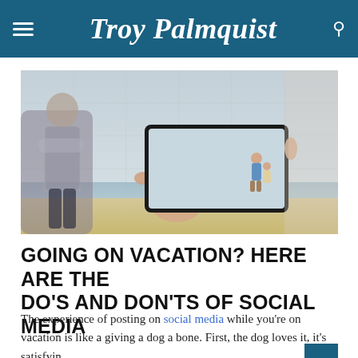Troy Palmquist
[Figure (photo): A hand holding a tablet/phone photographing a couple on a beach, with another person standing in the background on the left.]
GOING ON VACATION? HERE ARE THE DO'S AND DON'TS OF SOCIAL MEDIA
The experience of posting on social media while you're on vacation is like a giving a dog a bone. First, the dog loves it, it's satisfyin…